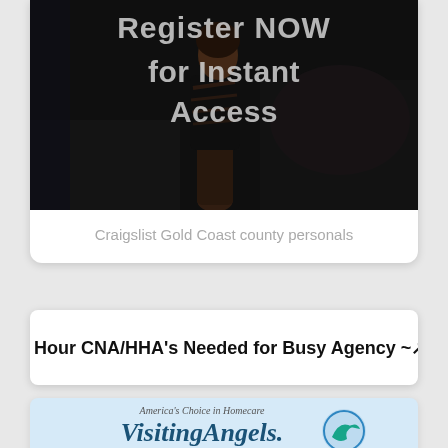[Figure (photo): Banner image showing a woman in a black cut-out dress with overlaid text 'Register NOW for Instant Access' on a dark background]
Craigslist Gold Coast county personals
Hour CNA/HHA's Needed for Busy Agency ~
[Figure (logo): Visiting Angels logo - America's Choice in Homecare with teal bird icon]